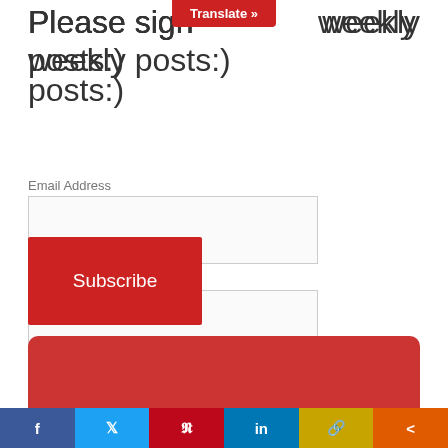[Figure (other): Red 'Translate »' button overlay at top center of page]
Please sign up for our weekly posts:)
Email Address
[Figure (other): Email Address input field (empty text box)]
First Name
[Figure (other): First Name input field (empty text box)]
[Figure (other): Red Subscribe button]
[Figure (infographic): Red rounded banner: Join My Community For The Latest Internet Marketing Tips & Tricks with dark red scroll-to-top arrow button]
[Figure (other): Social share bar with Facebook, Twitter, Pinterest, LinkedIn, link, and share icons]